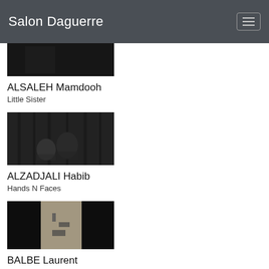Salon Daguerre
[Figure (photo): Black and white photograph partially visible at top of page, associated with ALSALEH Mamdooh]
ALSALEH Mamdooh
Little Sister
[Figure (photo): Black and white photograph of children looking over a wooden fence or barrier, by ALZADJALI Habib]
ALZADJALI Habib
Hands N Faces
[Figure (photo): Composite photograph with dark panels on sides and a lighter center panel showing people on steps, partially visible at bottom of page, by BALBE Laurent]
BALBE Laurent